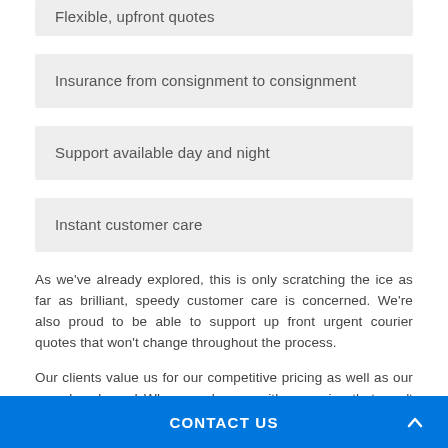Flexible, upfront quotes
Insurance from consignment to consignment
Support available day and night
Instant customer care
As we've already explored, this is only scratching the ice as far as brilliant, speedy customer care is concerned. We're also proud to be able to support up front urgent courier quotes that won't change throughout the process.
Our clients value us for our competitive pricing as well as our speed and care!  Why spend more with a service that won't protect you or your budget along the way?
Instant Deliveries in Airedale
CONTACT US